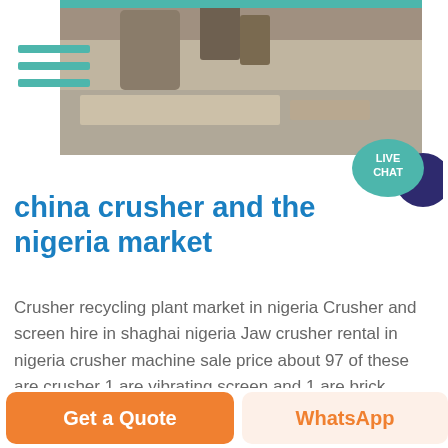[Figure (photo): Top portion of industrial crusher machinery at a site, partially visible]
china crusher and the nigeria market
Crusher recycling plant market in nigeria Crusher and screen hire in shaghai nigeria Jaw crusher rental in nigeria crusher machine sale price about 97 of these are crusher 1 are vibrating screen and 1 are brick making machinery screen crusher china shanghai india
[Figure (photo): Industrial jaw crusher machinery on a construction/demolition site]
Get a Quote
WhatsApp